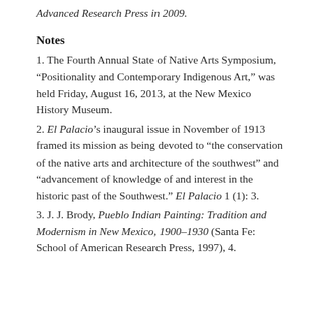Advanced Research Press in 2009.
Notes
1. The Fourth Annual State of Native Arts Symposium, “Positionality and Contemporary Indigenous Art,” was held Friday, August 16, 2013, at the New Mexico History Museum.
2. El Palacio’s inaugural issue in November of 1913 framed its mission as being devoted to “the conservation of the native arts and architecture of the southwest” and “advancement of knowledge of and interest in the historic past of the Southwest.” El Palacio 1 (1): 3.
3. J. J. Brody, Pueblo Indian Painting: Tradition and Modernism in New Mexico, 1900–1930 (Santa Fe: School of American Research Press, 1997), 4.